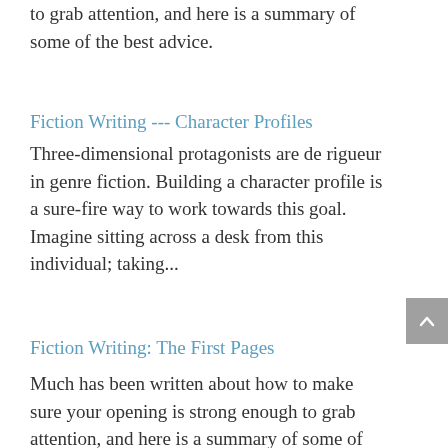to grab attention, and here is a summary of some of the best advice.
Fiction Writing --- Character Profiles
Three-dimensional protagonists are de rigueur in genre fiction. Building a character profile is a sure-fire way to work towards this goal. Imagine sitting across a desk from this individual; taking...
Fiction Writing: The First Pages
Much has been written about how to make sure your opening is strong enough to grab attention, and here is a summary of some of the best advice.